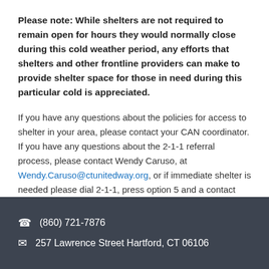Please note: While shelters are not required to remain open for hours they would normally close during this cold weather period, any efforts that shelters and other frontline providers can make to provide shelter space for those in need during this particular cold is appreciated.
If you have any questions about the policies for access to shelter in your area, please contact your CAN coordinator. If you have any questions about the 2-1-1 referral process, please contact Wendy Caruso, at Wendy.Caruso@ctunitedway.org, or if immediate shelter is needed please dial 2-1-1, press option 5 and a contact specialist will assist you with finding shelter in your area.
(860) 721-7876 | 257 Lawrence Street Hartford, CT 06106